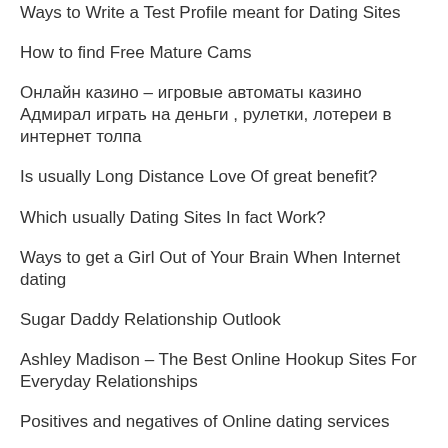Ways to Write a Test Profile meant for Dating Sites
How to find Free Mature Cams
Онлайн казино – игровые автоматы казино Адмирал играть на деньги , рулетки, лотереи в интернет толпа
Is usually Long Distance Love Of great benefit?
Which usually Dating Sites In fact Work?
Ways to get a Girl Out of Your Brain When Internet dating
Sugar Daddy Relationship Outlook
Ashley Madison – The Best Online Hookup Sites For Everyday Relationships
Positives and negatives of Online dating services
six Keys to a Successful Marital relationship